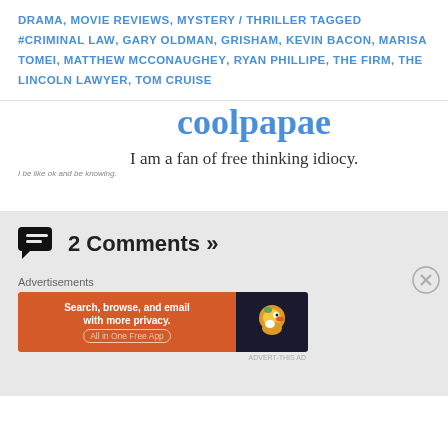DRAMA, MOVIE REVIEWS, MYSTERY / THRILLER TAGGED #CRIMINAL LAW, GARY OLDMAN, GRISHAM, KEVIN BACON, MARISA TOMEI, MATTHEW MCCONAUGHEY, RYAN PHILLIPE, THE FIRM, THE LINCOLN LAWYER, TOM CRUISE
coolpapae
I be like ok and be knowing.
I am a fan of free thinking idiocy.
2 Comments »
Advertisements
[Figure (screenshot): DuckDuckGo advertisement banner: orange left panel with text 'Search, browse, and email with more privacy. All in One Free App' and dark right panel with DuckDuckGo duck logo]
ADVERT-THIS AD